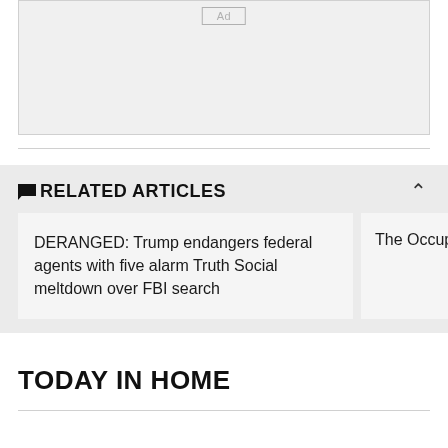[Figure (other): Advertisement placeholder box with 'Ad' label]
RELATED ARTICLES
DERANGED: Trump endangers federal agents with five alarm Truth Social meltdown over FBI search
The Occupy Der
TODAY IN HOME